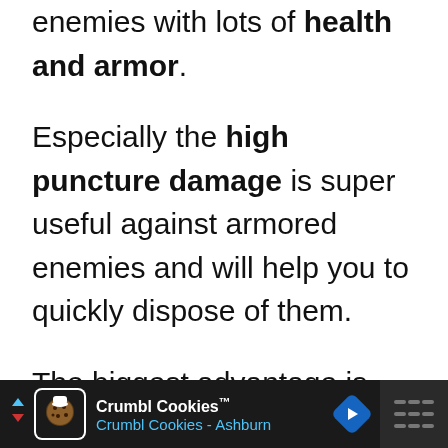enemies with lots of health and armor.
Especially the high puncture damage is super useful against armored enemies and will help you to quickly dispose of them.
The biggest advantage is the super high base damage, which is unchallenged by any other rifle.
[Figure (other): Crumbl Cookies advertisement banner at bottom of page. Dark background with logo, text 'Crumbl Cookies™ Crumbl Cookies - Ashburn', blue navigation arrow icon, and menu icon.]